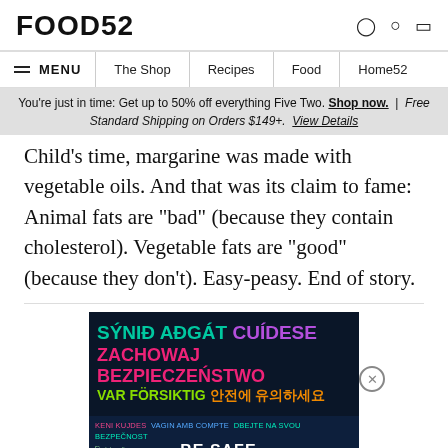FOOD52
MENU | The Shop | Recipes | Food | Home52
You're just in time: Get up to 50% off everything Five Two. Shop now. | Free Standard Shipping on Orders $149+. View Details
Child's time, margarine was made with vegetable oils. And that was its claim to fame: Animal fats are "bad" (because they contain cholesterol). Vegetable fats are "good" (because they don't). Easy-peasy. End of story.
[Figure (other): Advertisement banner with multilingual 'Be Safe' safety message on dark blue background with colorful text in multiple languages including Icelandic, Polish, Swedish, Korean, Bengali, Spanish and others.]